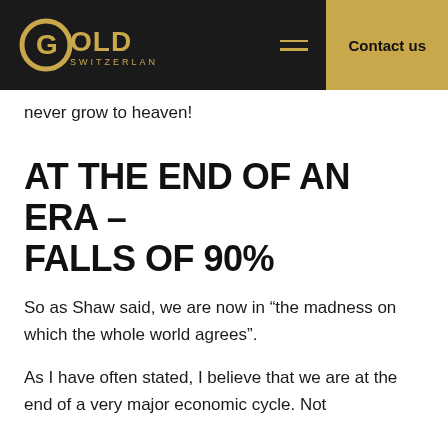Gold Switzerland | Contact us
never grow to heaven!
AT THE END OF AN ERA – FALLS OF 90%
So as Shaw said, we are now in “the madness on which the whole world agrees”.
As I have often stated, I believe that we are at the end of a very major economic cycle. Not